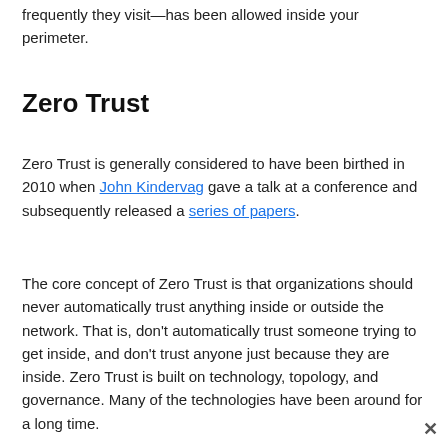frequently they visit—has been allowed inside your perimeter.
Zero Trust
Zero Trust is generally considered to have been birthed in 2010 when John Kindervag gave a talk at a conference and subsequently released a series of papers.
The core concept of Zero Trust is that organizations should never automatically trust anything inside or outside the network. That is, don't automatically trust someone trying to get inside, and don't trust anyone just because they are inside. Zero Trust is built on technology, topology, and governance. Many of the technologies have been around for a long time.